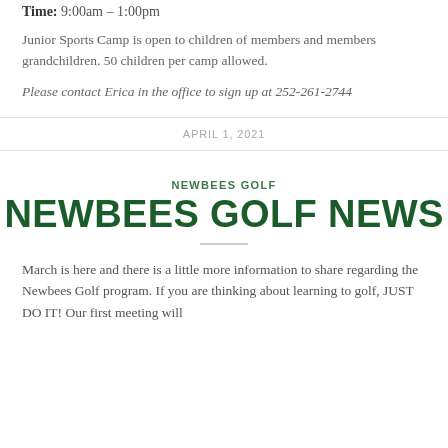Time: 9:00am – 1:00pm
Junior Sports Camp is open to children of members and members grandchildren. 50 children per camp allowed.
Please contact Erica in the office to sign up at 252-261-2744
APRIL 1, 2021
NEWBEES GOLF
NEWBEES GOLF NEWS
March is here and there is a little more information to share regarding the Newbees Golf program. If you are thinking about learning to golf, JUST DO IT! Our first meeting will